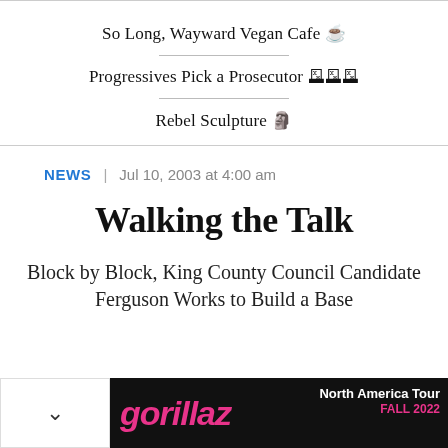So Long, Wayward Vegan Cafe ☕
Progressives Pick a Prosecutor 🗳🗳🗳
Rebel Sculpture 🗿
NEWS  |  Jul 10, 2003 at 4:00 am
Walking the Talk
Block by Block, King County Council Candidate Ferguson Works to Build a Base
[Figure (other): Advertisement banner for Gorillaz North America Tour Fall 2022 with pink graffiti-style text on black background]